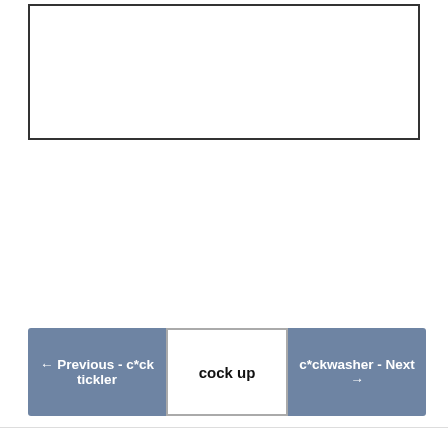[Figure (other): Empty white box with border, top of page]
← Previous - c*ck tickler | cock up | c*ckwasher - Next →